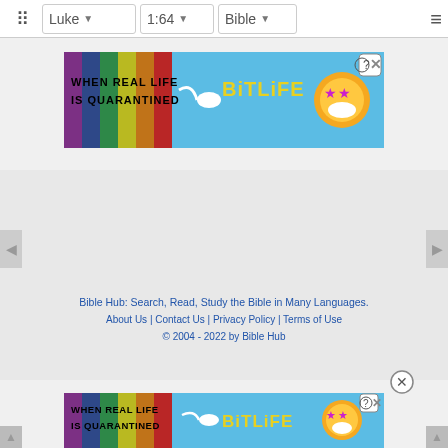Luke | 1:64 | Bible
[Figure (screenshot): BitLife advertisement banner: 'WHEN REAL LIFE IS QUARANTINED' with rainbow stripes, sperm graphic, and BitLife logo with emoji mascot]
[Figure (screenshot): Gray content area with left and right navigation arrows]
Bible Hub: Search, Read, Study the Bible in Many Languages. About Us | Contact Us | Privacy Policy | Terms of Use © 2004 - 2022 by Bible Hub
[Figure (screenshot): BitLife advertisement banner (bottom): 'WHEN REAL LIFE IS QUARANTINED' with rainbow stripes, sperm graphic, and BitLife logo with emoji mascot]